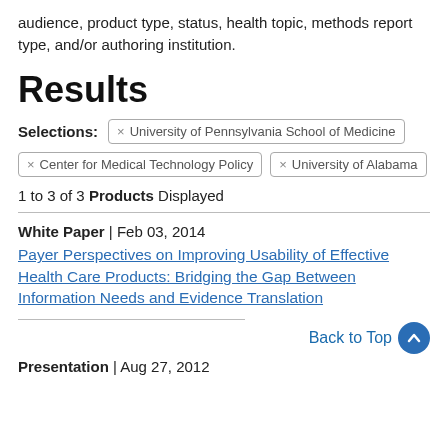audience, product type, status, health topic, methods report type, and/or authoring institution.
Results
Selections: × University of Pennsylvania School of Medicine
× Center for Medical Technology Policy  × University of Alabama
1 to 3 of 3 Products Displayed
White Paper | Feb 03, 2014
Payer Perspectives on Improving Usability of Effective Health Care Products: Bridging the Gap Between Information Needs and Evidence Translation
Presentation | Aug 27, 2012